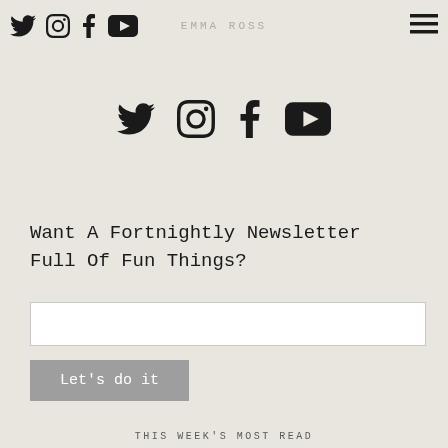Social icons (Twitter, Instagram, Facebook, YouTube) | EMMA ROSS | hamburger menu
[Figure (illustration): Four social media icons centered: Twitter bird, Instagram camera, Facebook f, YouTube play button]
Want A Fortnightly Newsletter Full Of Fun Things?
Email input field
Let's do it
THIS WEEK'S MOST READ